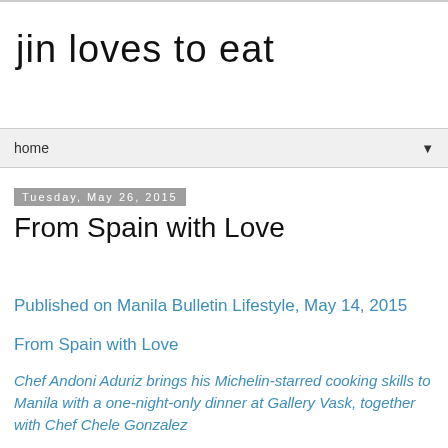jin loves to eat
home ▼
Tuesday, May 26, 2015
From Spain with Love
Published on Manila Bulletin Lifestyle, May 14, 2015
From Spain with Love
Chef Andoni Aduriz brings his Michelin-starred cooking skills to Manila with a one-night-only dinner at Gallery Vask, together with Chef Chele Gonzalez